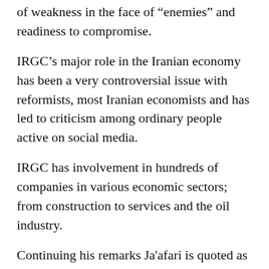of weakness in the face of “enemies” and readiness to compromise.
IRGC’s major role in the Iranian economy has been a very controversial issue with reformists, most Iranian economists and has led to criticism among ordinary people active on social media.
IRGC has involvement in hundreds of companies in various economic sectors; from construction to services and the oil industry.
Continuing his remarks Ja'afari is quoted as saying, “It is possible that they label us as people with guns, yes, but more than guns, we have missiles, which can bust the enemy and we use them against enemies and in defense of the [regime], the people and Islamic Iran’s security.”